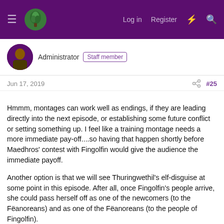Administrator Staff member
Jun 17, 2019   #25
Hmmm, montages can work well as endings, if they are leading directly into the next episode, or establishing some future conflict or setting something up. I feel like a training montage needs a more immediate pay-off....so having that happen shortly before Maedhros' contest with Fingolfin would give the audience the immediate payoff.

Another option is that we will see Thuringwethil's elf-disguise at some point in this episode. After all, once Fingolfin's people arrive, she could pass herself off as one of the newcomers (to the Fëanoreans) and as one of the Fëanoreans (to the people of Fingolfin).
We wouldn't want to give it away...we want to save the reveal for later. Just as a minor background character, but (again) we'll know it's her later when she shows up at the Mereth Aderthad,